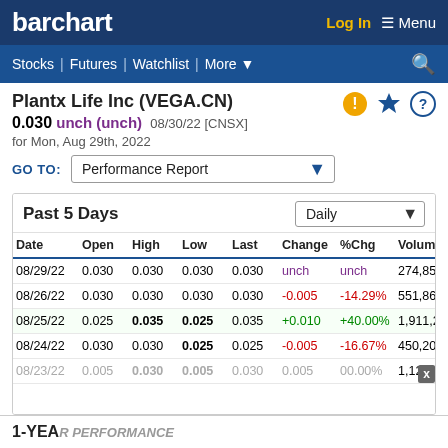barchart | Log In | Menu
Stocks | Futures | Watchlist | More
Plantx Life Inc (VEGA.CN)
0.030 unch (unch) 08/30/22 [CNSX]
for Mon, Aug 29th, 2022
GO TO: Performance Report
Past 5 Days
| Date | Open | High | Low | Last | Change | %Chg | Volum |
| --- | --- | --- | --- | --- | --- | --- | --- |
| 08/29/22 | 0.030 | 0.030 | 0.030 | 0.030 | unch | unch | 274,85 |
| 08/26/22 | 0.030 | 0.030 | 0.030 | 0.030 | -0.005 | -14.29% | 551,86 |
| 08/25/22 | 0.025 | 0.035 | 0.025 | 0.035 | +0.010 | +40.00% | 1,911,20 |
| 08/24/22 | 0.030 | 0.030 | 0.025 | 0.025 | -0.005 | -16.67% | 450,20 |
| 08/23/22 | 0.005 | 0.030 | 0.005 | 0.030 | 0.005 | 00.00% | 1,126,63 |
1-YEAR PERFORMANCE